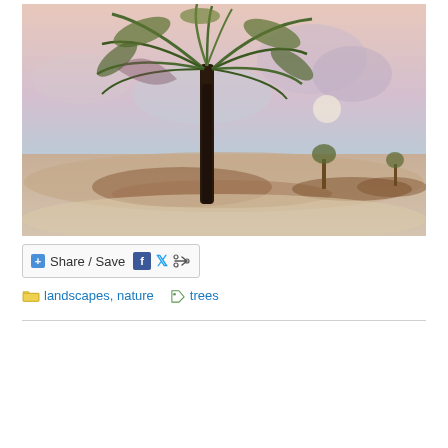[Figure (illustration): Watercolor painting of a desert or sandy landscape scene. A large palm tree with dark trunk dominates the foreground-center. Fan-shaped fronds spread at the top. In the background, two smaller trees are visible on sandy mounds/islands. The sky is pink and blue with soft cloud shapes. The ground is sandy/brownish with muted earth tones. Soft watercolor style throughout.]
Share / Save
landscapes, nature   trees